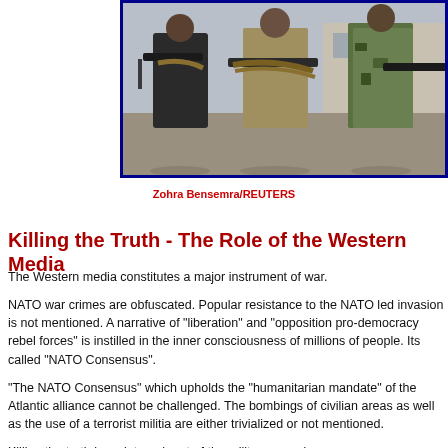[Figure (photo): Three armed fighters holding weapons with ammunition belts, standing in an outdoor urban setting. Photo credit: Zohra Bensemra/REUTERS]
Zohra Bensemra/REUTERS
Killing the Truth - The Role of the Western Media
The Western media constitutes a major instrument of war.
NATO war crimes are obfuscated. Popular resistance to the NATO led invasion is not mentioned. A narrative of "liberation" and "opposition pro-democracy rebel forces" is instilled in the inner consciousness of millions of people. Its called "NATO Consensus".
"The NATO Consensus" which upholds the "humanitarian mandate" of the Atlantic alliance cannot be challenged. The bombings of civilian areas as well as the use of a terrorist militia are either trivialized or not mentioned.
Killing the truth is an integral part of the military agenda.